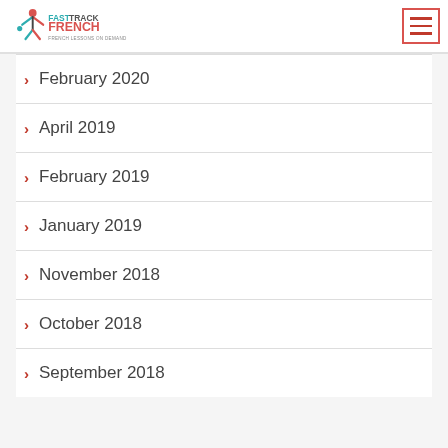Fast Track French — French Lessons on Demand
February 2020
April 2019
February 2019
January 2019
November 2018
October 2018
September 2018